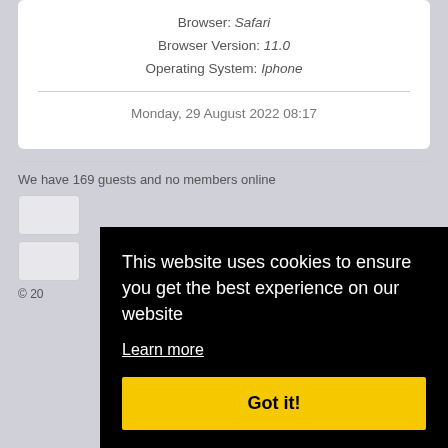Browser: Safari
Browser Version: 11.0
Operating System: Iphone
Monday, 29 August 2022 08:17
We have 169 guests and no members online
© 20
[Figure (screenshot): Cookie consent overlay with black background, text 'This website uses cookies to ensure you get the best experience on our website', a 'Learn more' underlined link, and a yellow 'Got it!' button.]